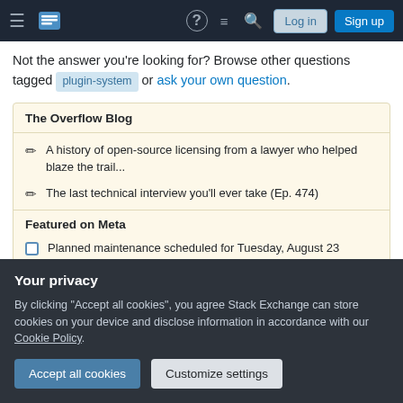Stack Exchange navigation bar with hamburger menu, logo, help, chat, search icons, Log in and Sign up buttons
Not the answer you're looking for? Browse other questions tagged plugin-system or ask your own question.
The Overflow Blog
A history of open-source licensing from a lawyer who helped blaze the trail...
The last technical interview you'll ever take (Ep. 474)
Featured on Meta
Planned maintenance scheduled for Tuesday, August 23
Your privacy
By clicking "Accept all cookies", you agree Stack Exchange can store cookies on your device and disclose information in accordance with our Cookie Policy.
Accept all cookies | Customize settings